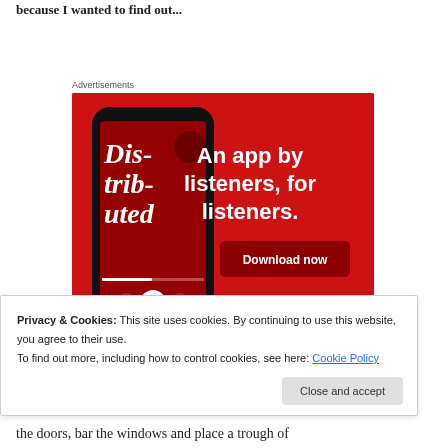because I wanted to find out...
Advertisements
[Figure (screenshot): Advertisement banner for a podcast app showing a smartphone with 'Dis-tri-bu-ted' podcast artwork on a red background with text 'An app by listeners, for listeners.' and a 'Download now' button]
Privacy & Cookies: This site uses cookies. By continuing to use this website, you agree to their use.
To find out more, including how to control cookies, see here: Cookie Policy
Close and accept
the doors, bar the windows and place a trough of